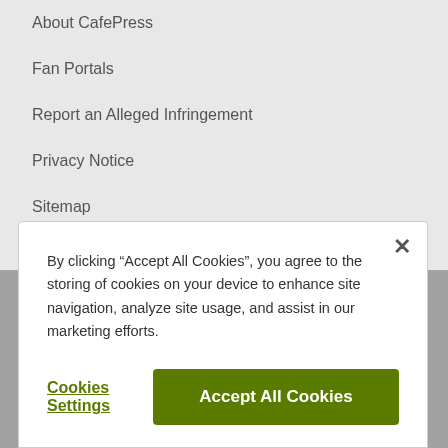About CafePress
Fan Portals
Report an Alleged Infringement
Privacy Notice
Sitemap
Terms of Use
Terms for Sellers
Supplier Code of Conduct
Web Accessibility
By clicking “Accept All Cookies”, you agree to the storing of cookies on your device to enhance site navigation, analyze site usage, and assist in our marketing efforts.
Cookies Settings
Accept All Cookies